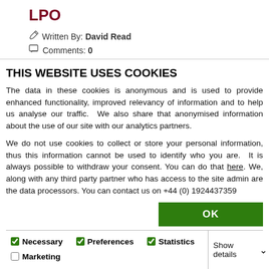LPO
Written By: David Read
Comments: 0
30-year old trombonist *Mark
THIS WEBSITE USES COOKIES
The data in these cookies is anonymous and is used to provide enhanced functionality, improved relevancy of information and to help us analyse our traffic.  We also share that anonymised information about the use of our site with our analytics partners.
We do not use cookies to collect or store your personal information, thus this information cannot be used to identify who you are.  It is always possible to withdraw your consent. You can do that here. We, along with any third party partner who has access to the site admin are the data processors. You can contact us on +44 (0) 1924437359
OK
Necessary  Preferences  Statistics  Marketing  Show details